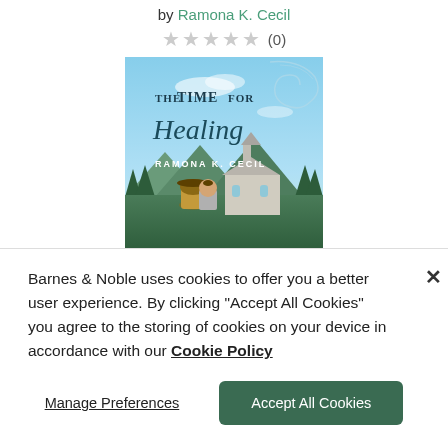by Ramona K. Cecil
★★★★★ (0)
[Figure (photo): Book cover of 'The Time for Healing' by Ramona K. Cecil, showing a teal/blue sky background with decorative swirls, title text, author name, and two people near a mountain church scene.]
Barnes & Noble uses cookies to offer you a better user experience. By clicking "Accept All Cookies" you agree to the storing of cookies on your device in accordance with our Cookie Policy
Manage Preferences
Accept All Cookies